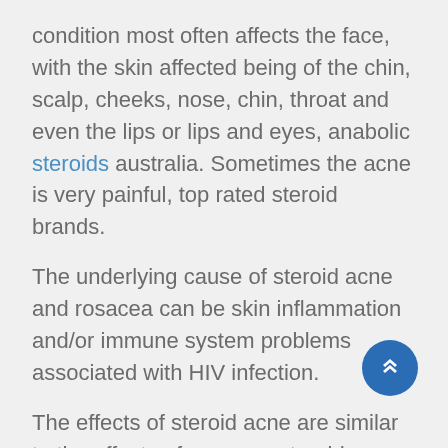condition most often affects the face, with the skin affected being of the chin, scalp, cheeks, nose, chin, throat and even the lips or lips and eyes, anabolic steroids australia. Sometimes the acne is very painful, top rated steroid brands.
The underlying cause of steroid acne and rosacea can be skin inflammation and/or immune system problems associated with HIV infection.
The effects of steroid acne are similar to the effects of rosacea, steroid superstore. The skin and sebaceous glands of the face are inflamed and hyperpigmented. The inflammatory tissues and the immune system are involved in these acne-like conditions, anabolic steroids with less side effects.
What are some possible causes of steroid acne?